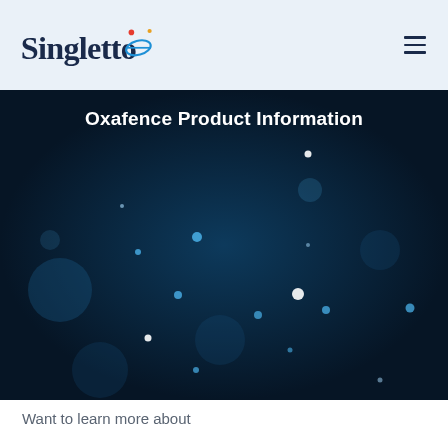Singletto [logo] ☰
Oxafence Product Information
[Figure (photo): Dark blue bokeh/particles background with scattered white and blue light dots on a deep navy gradient background]
Want to learn more about